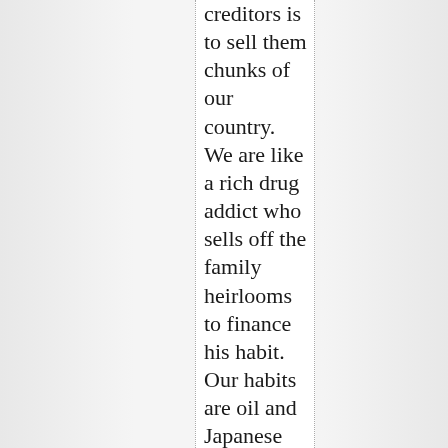creditors is to sell them chunks of our country. We are like a rich drug addict who sells off the family heirlooms to finance his habit. Our habits are oil and Japanese and German cars and French wine and Bolivian tin and Chilean copper, and, little by little, we are transferring ownership of our nations